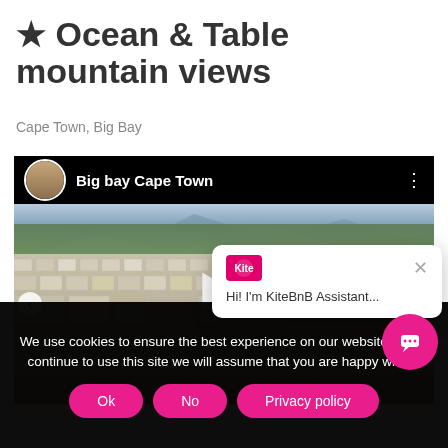★ Ocean & Table mountain views
Cape Town, Big Bay
[Figure (screenshot): Aerial video still of Big bay Cape Town with avatar, title bar and play button overlay]
We use cookies to ensure the best experience on our website. If you continue to use this site we will assume that you are happy with it.
Ok  No  Privacy policy